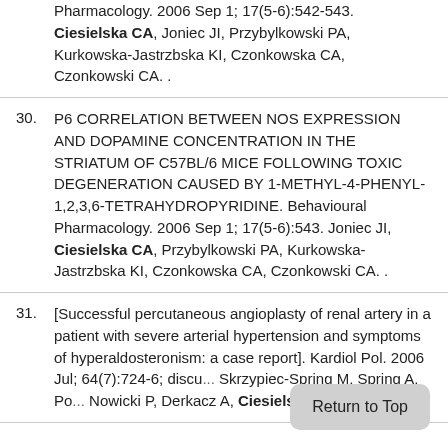Pharmacology. 2006 Sep 1; 17(5-6):542-543. Ciesielska CA, Joniec JI, Przybylkowski PA, Kurkowska-Jastrzbska KI, Czonkowska CA, Czonkowski CA. .
30. P6 CORRELATION BETWEEN NOS EXPRESSION AND DOPAMINE CONCENTRATION IN THE STRIATUM OF C57BL/6 MICE FOLLOWING TOXIC DEGENERATION CAUSED BY 1-METHYL-4-PHENYL-1,2,3,6-TETRAHYDROPYRIDINE. Behavioural Pharmacology. 2006 Sep 1; 17(5-6):543. Joniec JI, Ciesielska CA, Przybylkowski PA, Kurkowska-Jastrzbska KI, Czonkowska CA, Czonkowski CA. .
31. [Successful percutaneous angioplasty of renal artery in a patient with severe arterial hypertension and symptoms of hyperaldosteronism: a case report]. Kardiol Pol. 2006 Jul; 64(7):724-6; discu... Skrzypiec-Spring M, Spring A, Po... Nowicki P, Derkacz A, Ciesielska A, Negrusz-